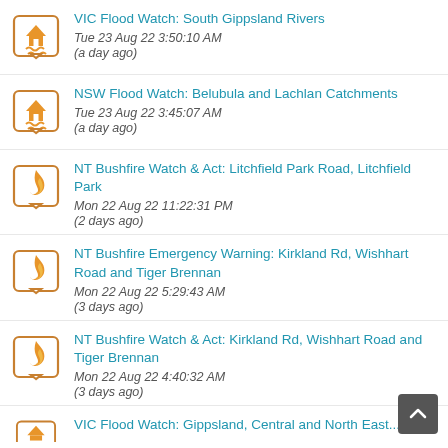VIC Flood Watch: South Gippsland Rivers
Tue 23 Aug 22 3:50:10 AM
(a day ago)
NSW Flood Watch: Belubula and Lachlan Catchments
Tue 23 Aug 22 3:45:07 AM
(a day ago)
NT Bushfire Watch & Act: Litchfield Park Road, Litchfield Park
Mon 22 Aug 22 11:22:31 PM
(2 days ago)
NT Bushfire Emergency Warning: Kirkland Rd, Wishhart Road and Tiger Brennan
Mon 22 Aug 22 5:29:43 AM
(3 days ago)
NT Bushfire Watch & Act: Kirkland Rd, Wishhart Road and Tiger Brennan
Mon 22 Aug 22 4:40:32 AM
(3 days ago)
VIC Flood Watch: Gippsland, Central and North East...